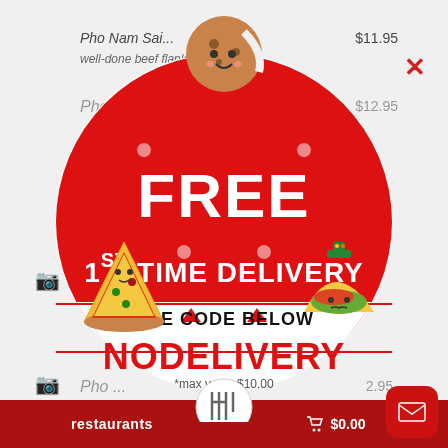[Figure (screenshot): Mobile app screenshot showing restaurant menu items in background with a promotional popup overlay. Menu items visible include 'well-done beef flank & tendon', 'Pho Tai Gu...' at $12.95, 'rare ste...', 'Pho...' at .95. Bottom toolbar shows 'restaurants' and '$0.00' cart buttons.]
[Figure (infographic): Circular popup promotion badge with red and white sections. Features cartoon food characters (cookie, pizza slice, taco). Large white text on red background reads 'FREE' and '1ST TIME DELIVERY'. White section below reads 'USE CODE BELOW' with red triangles. Promo code 'NODELIVERY' in red text, '*max value $10.00' below. 2DineIn.com logo at bottom.]
FREE
1ST TIME DELIVERY
USE CODE BELOW
NODELIVERY
*max value $10.00
restaurants
$0.00